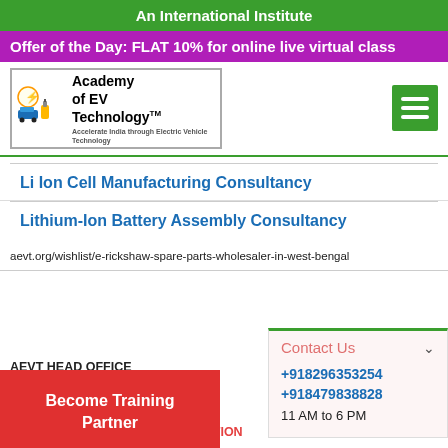An International Institute
Offer of the Day: FLAT 10% for online live virtual class
[Figure (logo): Academy of EV Technology (AEVT) logo with electric vehicle and charging icons]
Li Ion Cell Manufacturing Consultancy
Lithium-Ion Battery Assembly Consultancy
aevt.org/wishlist/e-rickshaw-spare-parts-wholesaler-in-west-bengal
Contact Us
+918296353254
+918479838828
11 AM to 6 PM
AEVT HEAD OFFICE
AEVT PROFILE
CAREER AT GATE TRUST
Become Training Partner
AEVT AFFILIACTION & REGISTRATION